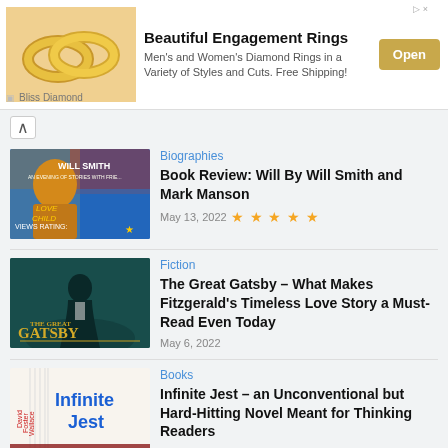[Figure (screenshot): Advertisement banner for Bliss Diamond engagement rings, showing gold rings image, 'Beautiful Engagement Rings' title, description text, and Open button]
[Figure (photo): Will Smith book cover - colorful portrait artwork with text 'WILL SMITH' and 'NEWS RATING:']
Biographies
Book Review: Will By Will Smith and Mark Manson
May 13, 2022 ★★★★★
[Figure (photo): The Great Gatsby book/movie cover - silhouette in tuxedo with 'THE GREAT GATSBY' text on teal background]
Fiction
The Great Gatsby – What Makes Fitzgerald's Timeless Love Story a Must-Read Even Today
May 6, 2022
[Figure (photo): Infinite Jest book cover - white pages with blue bold text 'Infinite Jest' and red text 'David Foster Wallace']
Books
Infinite Jest – an Unconventional but Hard-Hitting Novel Meant for Thinking Readers
May 5, 2022